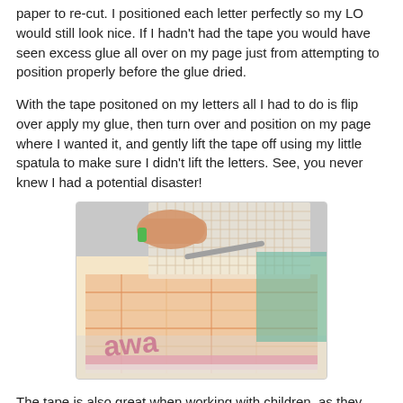paper to re-cut. I positioned each letter perfectly so my LO would still look nice. If I hadn't had the tape you would have seen excess glue all over on my page just from attempting to position properly before the glue dried.
With the tape positoned on my letters all I had to do is flip over apply my glue, then turn over and position on my page where I wanted it, and gently lift the tape off using my little spatula to make sure I didn't lift the letters. See, you never knew I had a potential disaster!
[Figure (photo): A hand holding a mesh/grid tape being peeled off a colorful scrapbook layout page with decorative letters and patterned paper.]
The tape is also great when working with children, as they can positon their work where they want it. I am here to attest